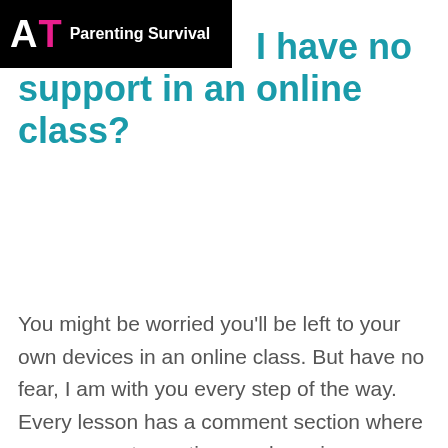AT Parenting Survival
I have no support in an online class?
You might be worried you'll be left to your own devices in an online class. But have no fear, I am with you every step of the way. Every lesson has a comment section where you can post questions and receive an answer. If you get stuck, you can email me and get more direct advice. You can also join my Facebook community and receive not only my support, but support